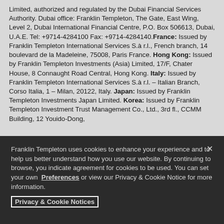Limited, authorized and regulated by the Dubai Financial Services Authority. Dubai office: Franklin Templeton, The Gate, East Wing, Level 2, Dubai International Financial Centre, P.O. Box 506613, Dubai, U.A.E. Tel: +9714-4284100 Fax: +9714-4284140. France: Issued by Franklin Templeton International Services S.à r.l., French branch, 14 boulevard de la Madeleine, 75008, Paris France. Hong Kong: Issued by Franklin Templeton Investments (Asia) Limited, 17/F, Chater House, 8 Connaught Road Central, Hong Kong. Italy: Issued by Franklin Templeton International Services S.à r.l. – Italian Branch, Corso Italia, 1 – Milan, 20122, Italy. Japan: Issued by Franklin Templeton Investments Japan Limited. Korea: Issued by Franklin Templeton Investment Trust Management Co., Ltd., 3rd fl., CCMM Building, 12 Youido-Dong,
Franklin Templeton uses cookies to enhance your experience and to help us better understand how you use our website. By continuing to browse, you indicate agreement for cookies to be used. You can set your own Preferences or view our Privacy & Cookie Notice for more information. Privacy & Cookie Notices